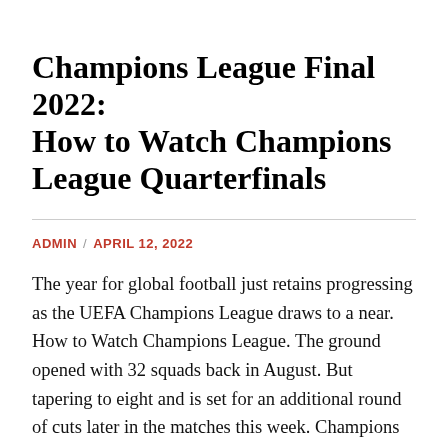Champions League Final 2022: How to Watch Champions League Quarterfinals
ADMIN / APRIL 12, 2022
The year for global football just retains progressing as the UEFA Champions League draws to a near. How to Watch Champions League. The ground opened with 32 squads back in August. But tapering to eight and is set for an additional round of cuts later in the matches this week. Champions League fans can buy Champions League Final Tickets from our website.